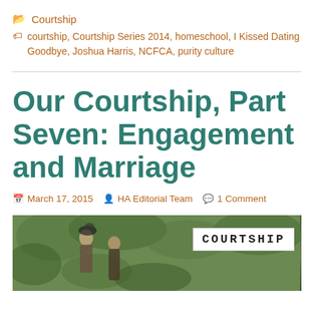📁 Courtship
🏷 courtship, Courtship Series 2014, homeschool, I Kissed Dating Goodbye, Joshua Harris, NCFCA, purity culture
Our Courtship, Part Seven: Engagement and Marriage
March 17, 2015  HA Editorial Team  1 Comment
[Figure (photo): Vintage painting-style image of two figures outdoors with greenery background. Overlay badge reads 'COURTSHIP' in monospace font on white background with border.]